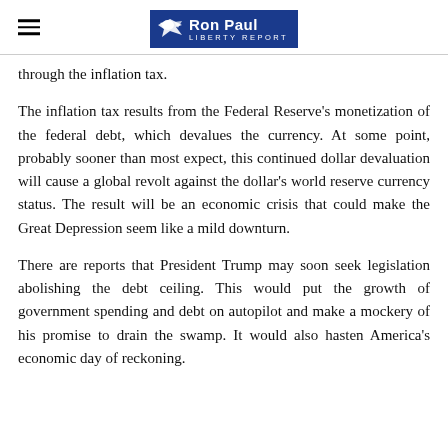Ron Paul Liberty Report
through the inflation tax.
The inflation tax results from the Federal Reserve's monetization of the federal debt, which devalues the currency. At some point, probably sooner than most expect, this continued dollar devaluation will cause a global revolt against the dollar's world reserve currency status. The result will be an economic crisis that could make the Great Depression seem like a mild downturn.
There are reports that President Trump may soon seek legislation abolishing the debt ceiling. This would put the growth of government spending and debt on autopilot and make a mockery of his promise to drain the swamp. It would also hasten America's economic day of reckoning.